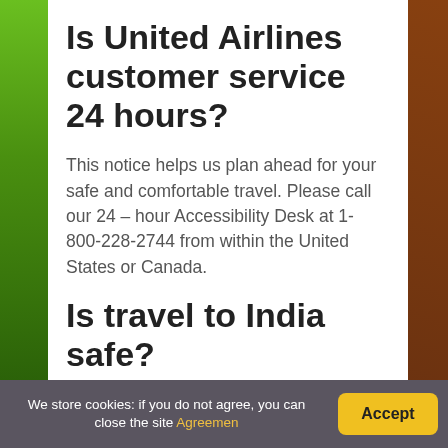Is United Airlines customer service 24 hours?
This notice helps us plan ahead for your safe and comfortable travel. Please call our 24 – hour Accessibility Desk at 1-800-228-2744 from within the United States or Canada.
Is travel to India safe?
We store cookies: if you do not agree, you can close the site Agreement